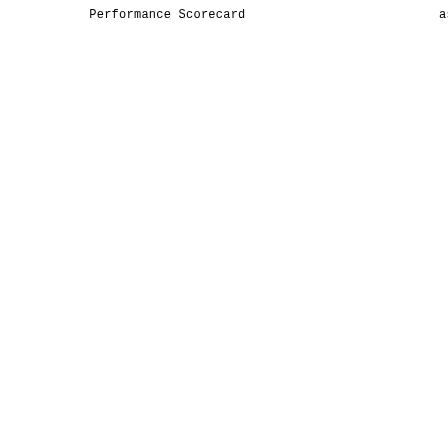Performance Scorecard                      as of
|  | 2008 | Jan | Feb | Mar | Apr | May |
| --- | --- | --- | --- | --- | --- | --- |
|  | ------- | ----- | ----- | ----- | ----- | ----- |
|  | CANADA | 9268 | 8540 | 8845 | 9037 | 9055 |
|  |  |  |  |  |  |  |
|  | Tst2Mail | 4.3 | 4.4 | 4.7 | 3.6 | 3.0 |
|  | Tst2Lab | 2.1 | 2.1 | 2.2 | 2.0 | 2.0 |
|  | Lab2Upl | 0.7 | 0.7 | 0.7 | 0.5 | 0.3 |
|  | Upl2Proc | 0.3 | 0.5 | 0.4 | 0.3 | 0.4 |
|  | Tst2Upl | 2.8 | 2.8 | 2.9 | 2.5 | 2.2 |
|  | %Same Day | 10.7 | 11.9 | 11.5 | 21.5 | 17.7 |
| Tst2Mail | %<=5 days | 77.0 | 72.3 | 67.7 | 87.6 | 86.0 |
|  | %<=7 days | 93.9 | 94.5 | 90.2 | 96.5 | 97.9 |
|  | #>7 days | 567 | 470 | 864 | 313 | 186 |
|  | %<=10 days | 98.0 | 98.5 | 97.9 | 98.8 | 99.0 |
|  | #>10 days | 183 | 132 | 187 | 110 | 37 |
|  | Longest Int | 62.0 | 72.0 | 23.0 | 56.0 | 46.0 |
|  | %Clean | 92.0 | 91.5 | 91.8 | 92.2 | 91.0 |
|  |  |  |  |  |  |  |
|  |  |  |  |  |  |  |
|  | 2008 | Jan | Feb | Mar | Apr | May |
|  | ------- | ----- | ----- | ----- | ----- | ----- |
|  | ADLIC | 436 | 431 | 419 | 406 | 427 |
|  |  |  |  |  |  |  |
|  | Tst2Mail | 3.6 | 3.3 | 4.0 | 3.0 | 3.1 |
|  | Tst2Lab | 1.7 | 1.5 | 1.9 | 1.6 | 1.5 |
|  | Lab2Upl | 0.2 | 0.2 | 0.2 | 0.3 | 0.2 |
|  | Upl2Proc | 0.1 | 0.2 | 0.2 | 0.2 | 0.2 |
|  | Tst2Upl | 1.9 | 1.9 | 2.1 | 1.9 | 1.7 |